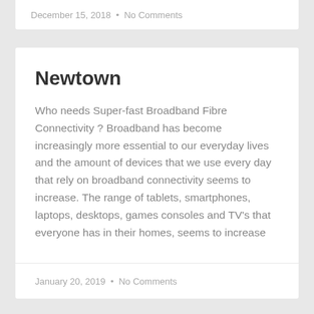December 15, 2018  •  No Comments
Newtown
Who needs Super-fast Broadband Fibre Connectivity ? Broadband has become increasingly more essential to our everyday lives and the amount of devices that we use every day that rely on broadband connectivity seems to increase. The range of tablets, smartphones, laptops, desktops, games consoles and TV's that everyone has in their homes, seems to increase
January 20, 2019  •  No Comments